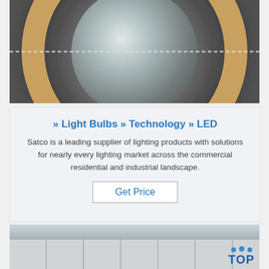[Figure (photo): Top-down view of a large circular wooden spool or reel wrapped with plastic film, surrounded by cardboard boxes, in a warehouse setting.]
» Light Bulbs » Technology » LED
Satco is a leading supplier of lighting products with solutions for nearly every lighting market across the commercial residential and industrial landscape.
Get Price
[Figure (photo): Warehouse scene with large flat cardboard boxes or pallets and workers visible in the background.]